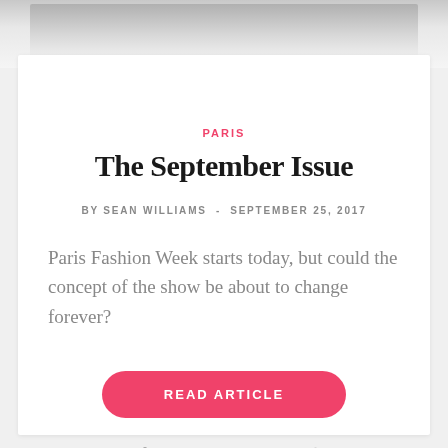[Figure (photo): Top portion of a fashion/lifestyle image peeking above the article card — shows soft grey tones suggesting draped fabric or a table surface]
PARIS
The September Issue
BY SEAN WILLIAMS  -  SEPTEMBER 25, 2017
Paris Fashion Week starts today, but could the concept of the show be about to change forever?
READ ARTICLE
0  4  No Comment